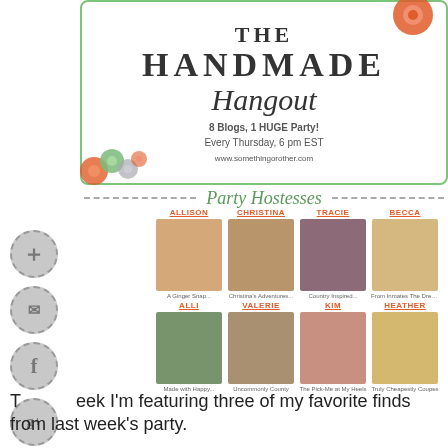[Figure (illustration): The Handmade Hangout banner logo with green border, decorative flowers, text reading 'THE HANDMADE Hangout - 8 Blogs, 1 HUGE Party! Every Thursday, 6 pm EST']
Party Hostesses
[Figure (photo): Grid of 8 hostess photos arranged in 2 rows of 4. Row 1: Allison (A Ginger Snap), Christina (Christina's Adventures), Tracie (Country Inspired), Becca (From Inmates The Dreams). Row 2: Alli (Made with Happy), Valerie (Uncommonly County), Kim (The Pick-Me at My Heels), Heather (Truly Cheapestly Coupes).]
[Figure (illustration): Social media icons on left side: plus/add, email, Facebook, Google+, Instagram — circular dashed-border grey icons]
This week I'm featuring three of my favorite finds from last week's party.